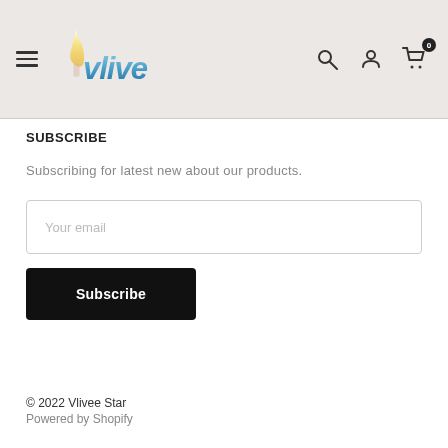[Figure (logo): Vlivee Star logo with candle flame and stylized blue text reading 'vlive']
SUBSCRIBE
Subscribing for latest new about our products.
Your email
Subscribe
© 2022 Vlivee Star
Powered by Shopify